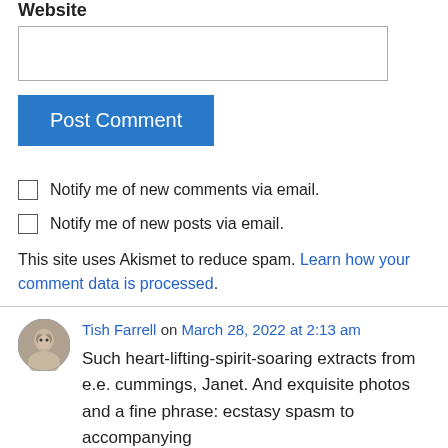Website
[Figure (other): Empty website text input field]
Post Comment
Notify me of new comments via email.
Notify me of new posts via email.
This site uses Akismet to reduce spam. Learn how your comment data is processed.
Tish Farrell on March 28, 2022 at 2:13 am
Such heart-lifting-spirit-soaring extracts from e.e. cummings, Janet. And exquisite photos and a fine phrase: ecstasy spasm to accompanying